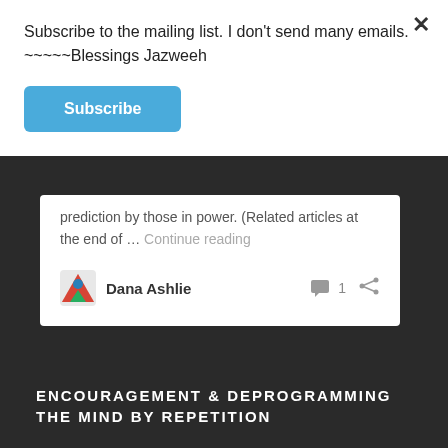Subscribe to the mailing list. I don't send many emails. ~~~~~Blessings Jazweeh
Subscribe
prediction by those in power. (Related articles at the end of … Continue reading
Dana Ashlie
ENCOURAGEMENT & DEPROGRAMMING THE MIND BY REPETITION